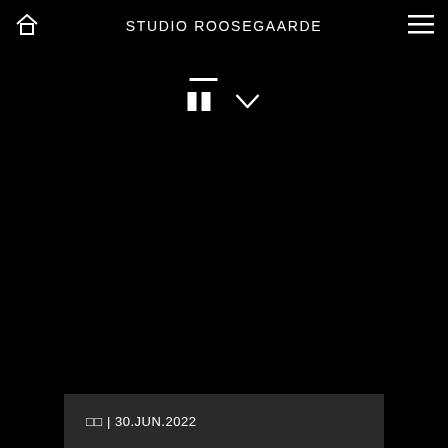STUDIO ROOSEGAARDE
[Figure (screenshot): UI controls showing a horizontal dash/line, a pause icon (two vertical bars), and a chevron/down arrow, on a black background]
□□ | 30.JUN.2022